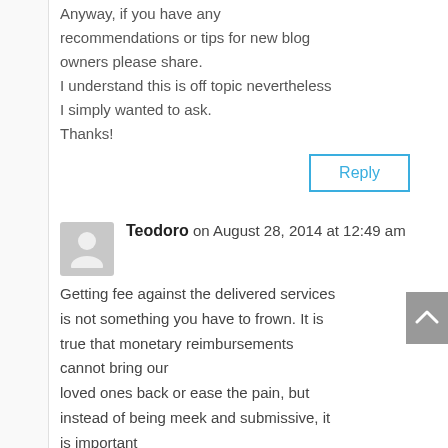Anyway, if you have any recommendations or tips for new blog owners please share.
I understand this is off topic nevertheless I simply wanted to ask.
Thanks!
Reply
Teodoro on August 28, 2014 at 12:49 am
Getting fee against the delivered services is not something you have to frown. It is true that monetary reimbursements cannot bring our loved ones back or ease the pain, but instead of being meek and submissive, it is important